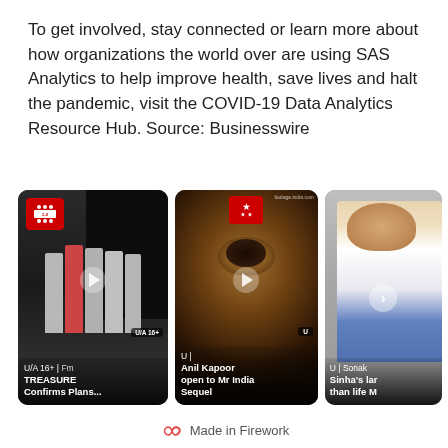To get involved, stay connected or learn more about how organizations the world over are using SAS Analytics to help improve health, save lives and halt the pandemic, visit the COVID-19 Data Analytics Resource Hub. Source: Businesswire
[Figure (screenshot): Three video thumbnails in a row: 1) K-pop group TREASURE in white outfits with caption 'U/A 16+ | TREASURE Confirms Plans...', 2) Close-up of Anil Kapoor's face with caption 'U | Anil Kapoor open to Mr India Sequel', 3) Woman in white outfit with caption 'U | Sonakshi Sinha's lar than life M']
Made in Firework